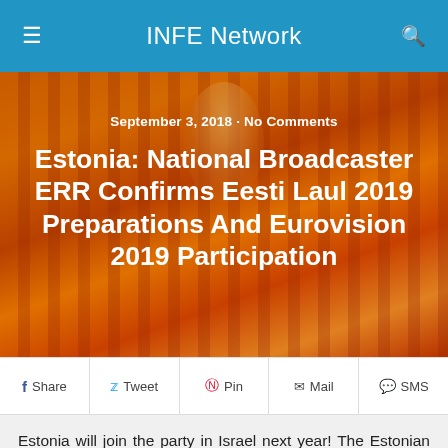INFE Network
[Figure (photo): A performer in a colorful orange and red gown on stage with warm orange-toned background lighting and vertical stripes]
September 3, 2018 · No Comments
Estonia: National Broadcaster ERR Confirms Eesti Laul 2019 Preparations And Eurovision 2019 Participation
Share  Tweet  Pin  Mail  SMS
Estonia will join the party in Israel next year! The Estonian national broadcaster, ERR, comfirmed the country's participation in next year's Eurvision Song Contest.